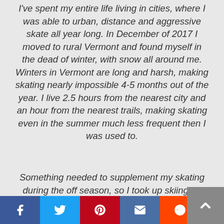I've spent my entire life living in cities, where I was able to urban, distance and aggressive skate all year long. In December of 2017 I moved to rural Vermont and found myself in the dead of winter, with snow all around me. Winters in Vermont are long and harsh, making skating nearly impossible 4-5 months out of the year. I live 2.5 hours from the nearest city and an hour from the nearest trails, making skating even in the summer much less frequent then I was used to.
Something needed to supplement my skating during the off season, so I took up skiing on January 2nd of 2019. From the moment I put on skis, I was hooked! Skiing gives me the exact same feeling I get from urban skating. Through skiing I am able to replicate the feel of carving a[nd playing
[Figure (infographic): Social share buttons bar at the bottom: Facebook (blue), Twitter (light blue), Pinterest (red), Email (dark blue), Reddit (orange). Back-to-top button (grey) at bottom right with upward chevron.]